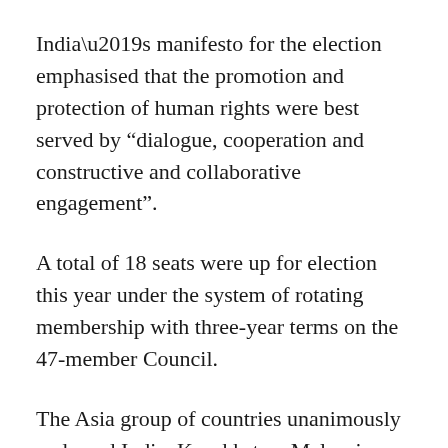India’s manifesto for the election emphasised that the promotion and protection of human rights were best served by “dialogue, cooperation and constructive and collaborative engagement”.
A total of 18 seats were up for election this year under the system of rotating membership with three-year terms on the 47-member Council.
The Asia group of countries unanimously endorsed India, Kazakhstan, Malaysia, Qatar, and the United Arab Emirates for the five seats for the region that were up for election this year ensuring their unopposed election.